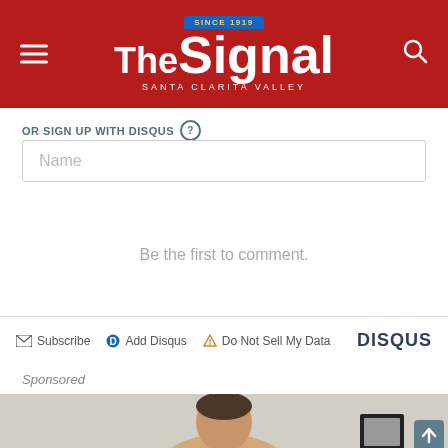The Signal — Santa Clarita Valley
OR SIGN UP WITH DISQUS ?
Name
Be the first to comment.
Subscribe  Add Disqus  Do Not Sell My Data  DISQUS
Sponsored
[Figure (photo): Sponsored content image showing a man in a light-colored shirt against a white brick wall background with a framed picture partially visible]